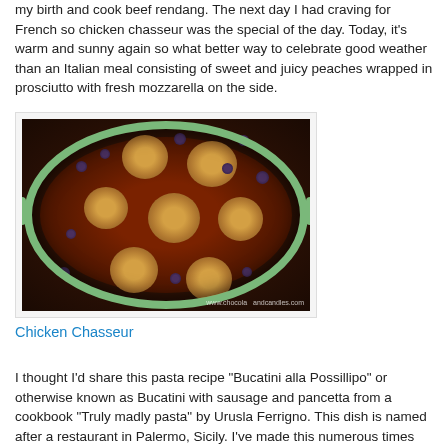my birth and cook beef rendang. The next day I had craving for French so chicken chasseur was the special of the day. Today, it's warm and sunny again so what better way to celebrate good weather than an Italian meal consisting of sweet and juicy peaches wrapped in prosciutto with fresh mozzarella on the side.
[Figure (photo): A green cast iron skillet/pan viewed from above containing golden-brown chicken pieces (chicken chasseur) braised in a dark red-brown sauce with small dark mushrooms or olives. A watermark reads 'www.chocolateandbiscuits.com' in the lower right corner.]
Chicken Chasseur
I thought I'd share this pasta recipe "Bucatini alla Possillipo" or otherwise known as Bucatini with sausage and pancetta from a cookbook "Truly madly pasta" by Urusla Ferrigno. This dish is named after a restaurant in Palermo, Sicily. I've made this numerous times over the past 5 years for friends and family with great success. I've had a lot of requests for this recipe so here it is, after 2 years of waiting. I guess it's better late than